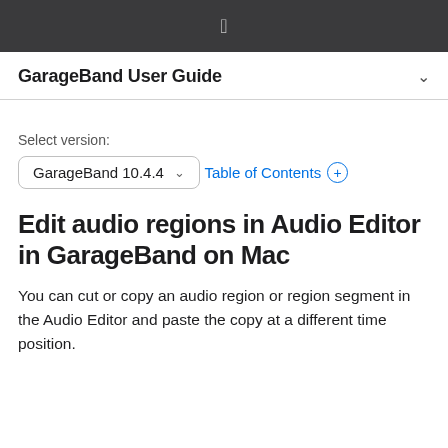GarageBand User Guide
Select version:
GarageBand 10.4.4
Table of Contents +
Edit audio regions in Audio Editor in GarageBand on Mac
You can cut or copy an audio region or region segment in the Audio Editor and paste the copy at a different time position.